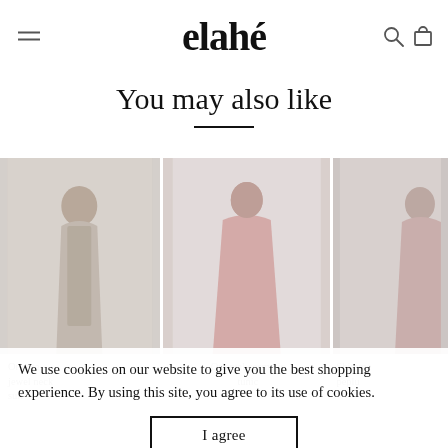elahé
You may also like
[Figure (photo): Three product photos of women's clothing: left shows a model in a beige/grey halter dress, center shows a model in a light pink flowing tunic top with white trousers, right (partially cropped) shows a model in a pink outfit.]
We use cookies on our website to give you the best shopping experience. By using this site, you agree to its use of cookies.
I agree